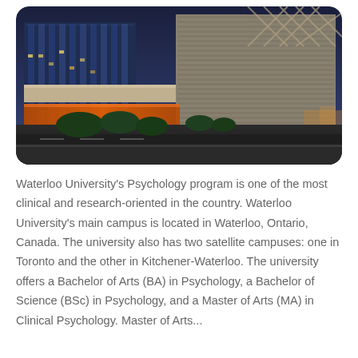[Figure (photo): Exterior photograph of a modern university building at dusk. The building features glass facades, geometric lattice structures, and warm orange-lit lower levels, with trees and a street in the foreground.]
Waterloo University's Psychology program is one of the most clinical and research-oriented in the country. Waterloo University's main campus is located in Waterloo, Ontario, Canada. The university also has two satellite campuses: one in Toronto and the other in Kitchener-Waterloo. The university offers a Bachelor of Arts (BA) in Psychology, a Bachelor of Science (BSc) in Psychology, and a Master of Arts (MA) in Clinical Psychology. Master of Arts...